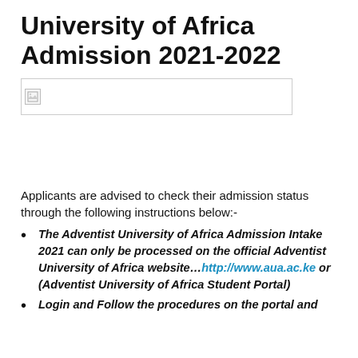University of Africa Admission 2021-2022
[Figure (other): Placeholder image with broken image icon and a horizontal rule line]
Applicants are advised to check their admission status through the following instructions below:-
The Adventist University of Africa Admission Intake 2021 can only be processed on the official Adventist University of Africa website…http://www.aua.ac.ke or (Adventist University of Africa Student Portal)
Login and Follow the procedures on the portal and